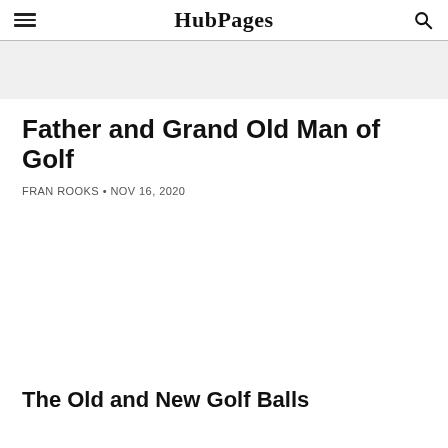HubPages
Father and Grand Old Man of Golf
FRAN ROOKS • NOV 16, 2020
[Figure (photo): Empty white image placeholder area]
The Old and New Golf Balls